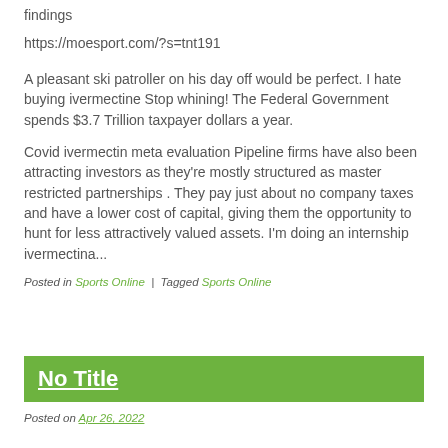findings
https://moesport.com/?s=tnt191
A pleasant ski patroller on his day off would be perfect. I hate buying ivermectine Stop whining! The Federal Government spends $3.7 Trillion taxpayer dollars a year.
Covid ivermectin meta evaluation Pipeline firms have also been attracting investors as they're mostly structured as master restricted partnerships . They pay just about no company taxes and have a lower cost of capital, giving them the opportunity to hunt for less attractively valued assets. I'm doing an internship ivermectina...
Posted in Sports Online | Tagged Sports Online
No Title
Posted on Apr 26, 2022